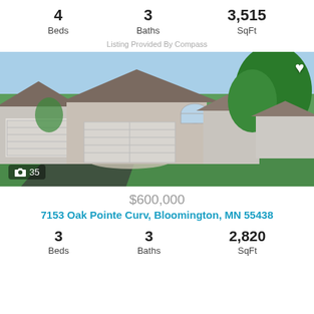4 Beds   3 Baths   3,515 SqFt
Listing Provided By Compass
[Figure (photo): Exterior photo of a brick and siding ranch-style home with two-car garage, circular driveway, and lush green lawn surrounded by trees. Photo count badge shows 35.]
$600,000
7153 Oak Pointe Curv, Bloomington, MN 55438
3 Beds   3 Baths   2,820 SqFt